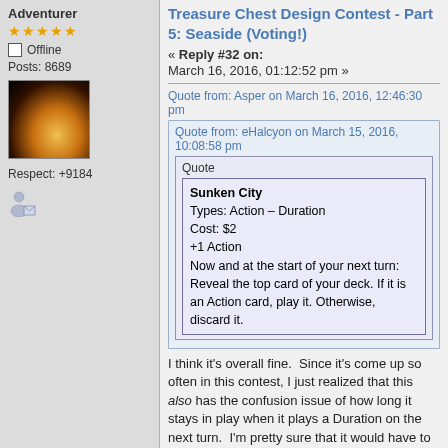Adventurer
★★★★★
Offline
Posts: 8689
[Figure (photo): Avatar photo of candles in dark background with warm orange glow]
Respect: +9184
[Figure (illustration): Small user profile icon with envelope]
Treasure Chest Design Contest - Part 5: Seaside (Voting!)
« Reply #32 on: March 16, 2016, 01:12:52 pm »
Quote from: Asper on March 16, 2016, 12:46:30 pm
Quote from: eHalcyon on March 15, 2016, 10:08:58 pm
Quote
Sunken City
Types: Action – Duration
Cost: $2
+1 Action
Now and at the start of your next turn: Reveal the top card of your deck. If it is an Action card, play it. Otherwise, discard it.
I think it's overall fine.  Since it's come up so often in this contest, I just realized that this also has the confusion issue of how long it stays in play when it plays a Duration on the next turn.  I'm pretty sure that it would have to remain in play an extra turn... and possibly even more if each Sunken City keeps on...